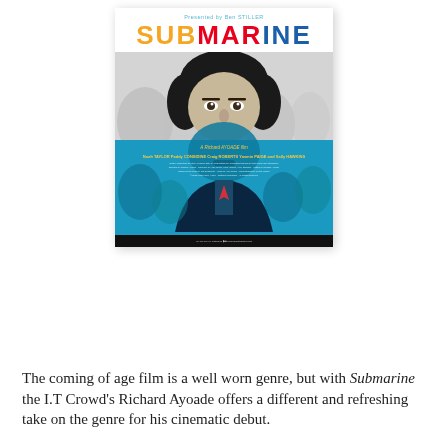[Figure (illustration): Movie poster for 'Submarine' (2010). Top white section shows 'Presented by Ben STILLER' in light blue text, followed by the title 'SUBMARINE' in large bold letters: 'SUB' in yellow/orange, 'MAR' in red, 'INE' in blue. Below is a photo of a young man with dark bowl-cut hair. The upper half of his face is in black and white, the lower half is tinted bright cyan/blue. At the bottom of the poster: 'A Richard AYOADE film' with cast credits including Noah TAYLOR, Paddy CONSIDINE, Craig ROBERTS, Yasmin PAIGE, and Sally HAWKINS, followed by small production credits and logos.]
The coming of age film is a well worn genre, but with Submarine the I.T Crowd's Richard Ayoade offers a different and refreshing take on the genre for his cinematic debut.